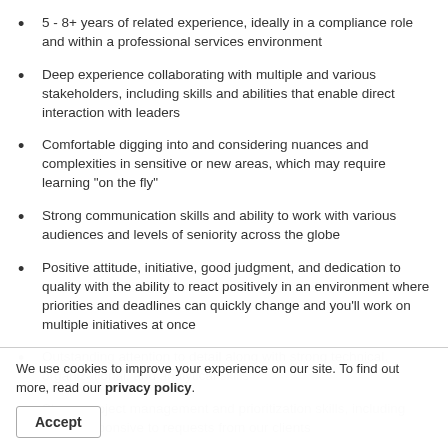5 - 8+ years of related experience, ideally in a compliance role and within a professional services environment
Deep experience collaborating with multiple and various stakeholders, including skills and abilities that enable direct interaction with leaders
Comfortable digging into and considering nuances and complexities in sensitive or new areas, which may require learning "on the fly"
Strong communication skills and ability to work with various audiences and levels of seniority across the globe
Positive attitude, initiative, good judgment, and dedication to quality with the ability to react positively in an environment where priorities and deadlines can quickly change and you'll work on multiple initiatives at once
Outstanding attention to detail along with strong technical, organizational, and analytical skills
Strong project management and prioritization skills, including being responsive to requests from our clients
Proficient in the use of standard office-productivity tools (e.g., Microsoft Word, PowerPoint, OneNote, Teams, etc.)
We use cookies to improve your experience on our site. To find out more, read our privacy policy.